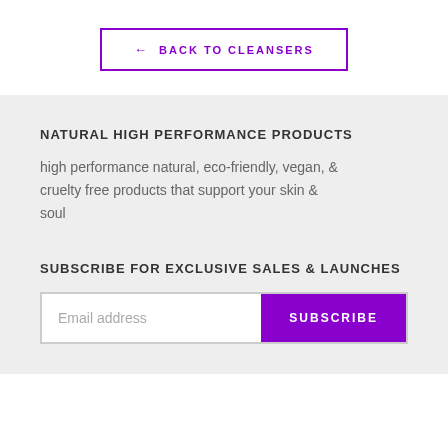← BACK TO CLEANSERS
NATURAL HIGH PERFORMANCE PRODUCTS
high performance natural, eco-friendly, vegan, & cruelty free products that support your skin & soul
SUBSCRIBE FOR EXCLUSIVE SALES & LAUNCHES
Email address  SUBSCRIBE